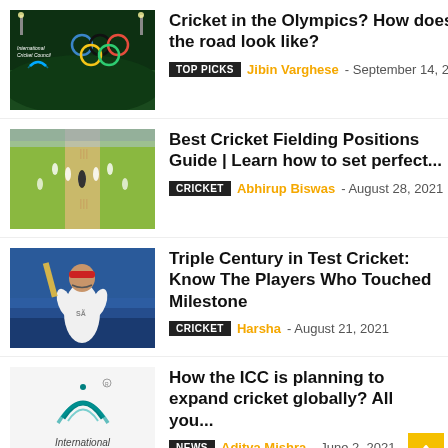[Figure (photo): Cricket and Olympics themed thumbnail with ICC logo and Olympic rings on dark green background]
Cricket in the Olympics? How does the road look like?
TOP PICKS  Jibin Varghese - September 14, 2021
[Figure (photo): Cricket fielding positions photo showing players on a cricket pitch]
Best Cricket Fielding Positions Guide | Learn how to set perfect...
CRICKET  Abhirup Biswas - August 28, 2021
[Figure (photo): Cricket batsman in red headband raising bat, wearing white jersey]
Triple Century in Test Cricket: Know The Players Who Touched Milestone
CRICKET  Harsha - August 21, 2021
[Figure (logo): International Cricket Council (ICC) logo on white background]
How the ICC is planning to expand cricket globally? All you...
NEWS  Aditya Mishra - June 2, 2021